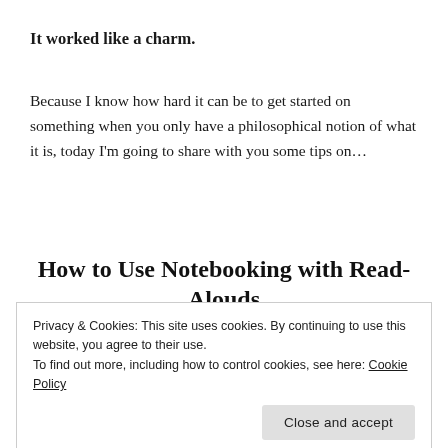It worked like a charm.
Because I know how hard it can be to get started on something when you only have a philosophical notion of what it is, today I'm going to share with you some tips on…
How to Use Notebooking with Read-Alouds
Privacy & Cookies: This site uses cookies. By continuing to use this website, you agree to their use.
To find out more, including how to control cookies, see here: Cookie Policy
interests your kids